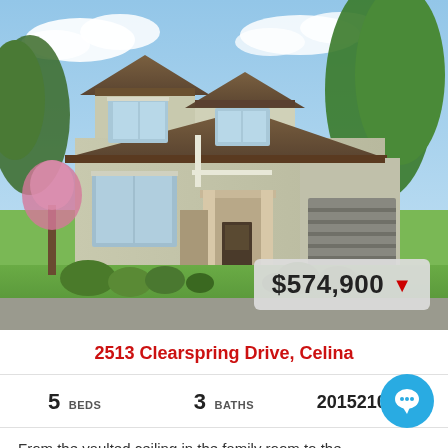[Figure (photo): Two-story craftsman-style house with gray/beige siding, brown roof, attached two-car garage, landscaped front yard with shrubs and trees, sunny day with blue sky and clouds.]
2513 Clearspring Drive, Celina
5 BEDS   3 BATHS   20152105 MLS
From the vaulted ceiling in the family room to the